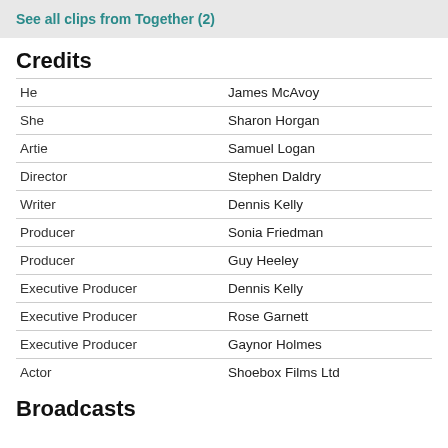See all clips from Together (2)
Credits
| Role | Name |
| --- | --- |
| He | James McAvoy |
| She | Sharon Horgan |
| Artie | Samuel Logan |
| Director | Stephen Daldry |
| Writer | Dennis Kelly |
| Producer | Sonia Friedman |
| Producer | Guy Heeley |
| Executive Producer | Dennis Kelly |
| Executive Producer | Rose Garnett |
| Executive Producer | Gaynor Holmes |
| Actor | Shoebox Films Ltd |
Broadcasts